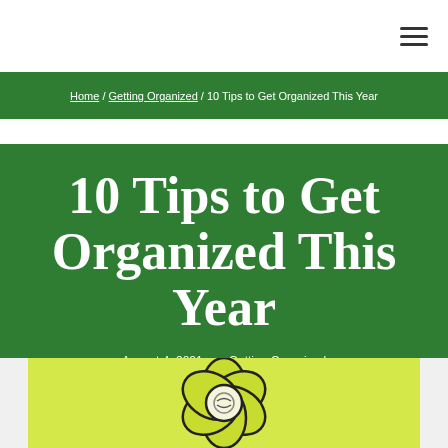☰ (menu icon)
Home / Getting Organized / 10 Tips to Get Organized This Year
10 Tips to Get Organized This Year
August 4, 2021 • Getting Organized
[Figure (illustration): Cartoon flower illustration on a yellow-green background]